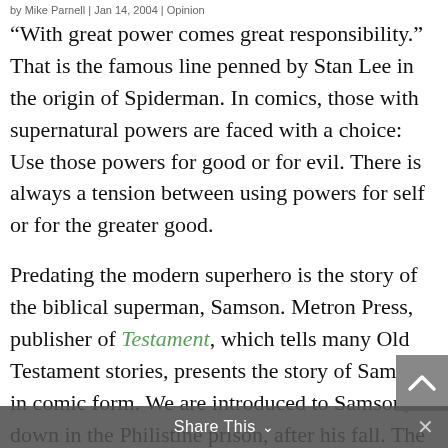by Mike Parnell | Jan 14, 2004 | Opinion
“With great power comes great responsibility.” That is the famous line penned by Stan Lee in the origin of Spiderman. In comics, those with supernatural powers are faced with a choice: Use those powers for good or for evil. There is always a tension between using powers for self or for the greater good.
Predating the modern superhero is the story of the biblical superman, Samson. Metron Press, publisher of Testament, which tells many Old Testament stories, presents the story of Samson in comic form. We are introduced to Samson, down in the Philistine prison, after his fall. The story is told in flashback. What we see is the rise and fall of a man who has